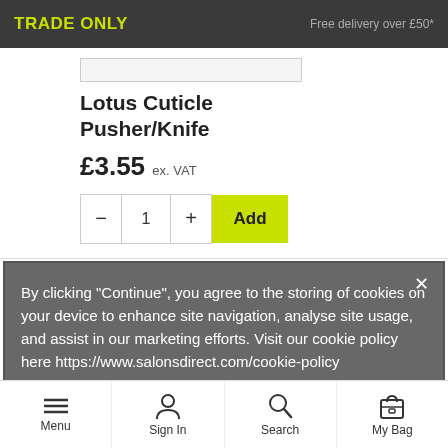TRADE ONLY   Free delivery over £50*
Lotus Cuticle Pusher/Knife
£3.55 ex. VAT
− 1 + Add
By clicking "Continue", you agree to the storing of cookies on your device to enhance site navigation, analyse site usage, and assist in our marketing efforts. Visit our cookie policy here https://www.salonsdirect.com/cookie-policy
Continue
Menu   Sign In   Search   My Bag